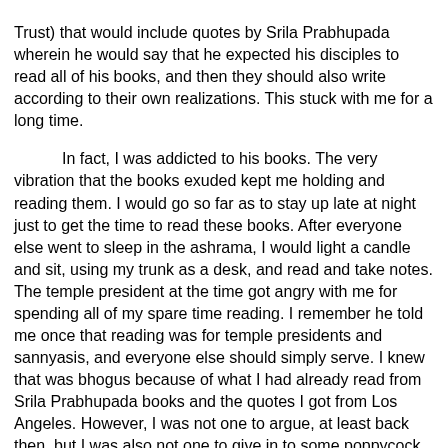Trust) that would include quotes by Srila Prabhupada wherein he would say that he expected his disciples to read all of his books, and then they should also write according to their own realizations. This stuck with me for a long time.

In fact, I was addicted to his books. The very vibration that the books exuded kept me holding and reading them. I would go so far as to stay up late at night just to get the time to read these books. After everyone else went to sleep in the ashrama, I would light a candle and sit, using my trunk as a desk, and read and take notes. The temple president at the time got angry with me for spending all of my spare time reading. I remember he told me once that reading was for temple presidents and sannyasis, and everyone else should simply serve. I knew that was bhogus because of what I had already read from Srila Prabhupada books and the quotes I got from Los Angeles. However, I was not one to argue, at least back then, but I was also not one to give in to some poppycock. If I could not read these books, especially the new ones that were coming out, along with doing whatever other service I was scheduled to do in the temple, I would have easily left the temple and simply worked outside to feed my habit of reading his books. But I stayed in the ashrama, did my service and sadhana, and kept reading anyway.